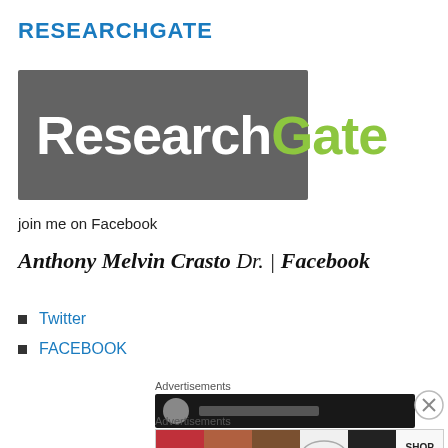RESEARCHGATE
[Figure (logo): ResearchGate logo: grey rectangle background with white 'Research' and green 'Gate' text in bold sans-serif font]
join me on Facebook
Anthony Melvin Crasto Dr. | Facebook
Twitter
FACEBOOK
Advertisements
[Figure (screenshot): Dark advertisement banner with circular logo and text line]
Advertisements
[Figure (screenshot): Ulta Beauty advertisement banner with makeup imagery and SHOP NOW text]